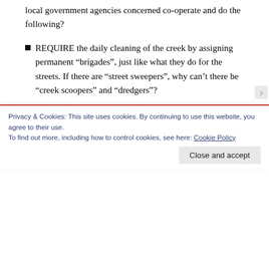local government agencies concerned co-operate and do the following?
REQUIRE the daily cleaning of the creek by assigning permanent “brigades”, just like what they do for the streets. If there are “street sweepers”, why can’t there be “creek scoopers” and “dredgers”?
REQUIRE the vendors with stalls along or near the creeks to maintain the cleanliness of their respective periphery so that they are obliged to call the attention of irresponsible pedestrians who do not show concern.
Privacy & Cookies: This site uses cookies. By continuing to use this website, you agree to their use.
To find out more, including how to control cookies, see here: Cookie Policy
Close and accept